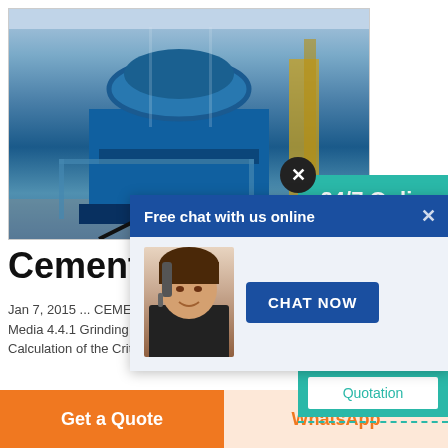[Figure (photo): Blue industrial cement mill / grinding machinery in a factory setting with yellow structural supports visible in background]
Cement
Jan 7, 2015 ... CEMENT INDUSTRY Cement Mill NATIONAL ... Media 4.4.1 Grinding Ball Charge in Charging 4.4.3 Total .... 3.2 Calculation of the Criti weight of a grinding ball in kg. w:...
[Figure (screenshot): Chat popup overlay with header 'Free chat with us online', customer service agent photo, and 'CHAT NOW' button]
[Figure (screenshot): Right side panel showing '24/7 Online' teal header with close X button, agent photo, 'Have any requests, click here.' text, and Quotation button]
Get a Quote
WhatsApp